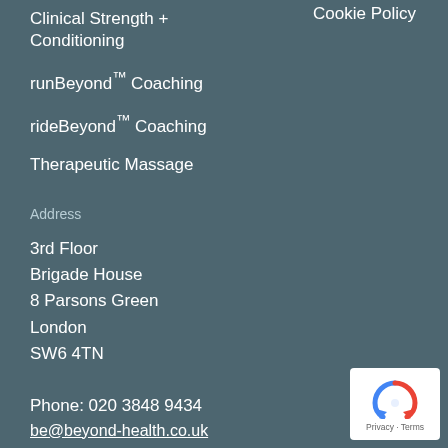Clinical Strength + Conditioning
runBeyond™ Coaching
rideBeyond™ Coaching
Therapeutic Massage
Address
3rd Floor
Brigade House
8 Parsons Green
London
SW6 4TN
Phone: 020 3848 9434
be@beyond-health.co.uk
Cookie Policy
[Figure (logo): reCAPTCHA Privacy - Terms badge]